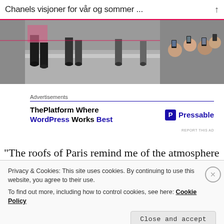Chanels visjoner for vår og sommer ...
[Figure (photo): Fashion runway photo showing models' legs walking on a catwalk, with seated audience watching and taking photos with smartphones, at a Chanel spring/summer show]
Advertisements
[Figure (screenshot): Advertisement for Pressable: 'ThePlatform Where WordPress Works Best' with Pressable logo on the right]
REPORT THIS AD
“The roofs of Paris remind me of the atmosphere of
Privacy & Cookies: This site uses cookies. By continuing to use this website, you agree to their use.
To find out more, including how to control cookies, see here: Cookie Policy
Close and accept